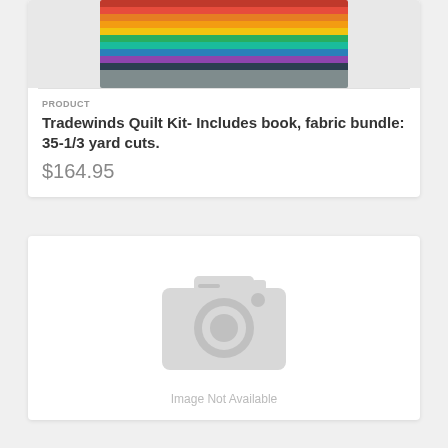[Figure (photo): Colorful quilt fabric bundle with multiple fabric layers in rainbow colors tied with a ribbon, with a green book/packaging visible in the background]
PRODUCT
Tradewinds Quilt Kit- Includes book, fabric bundle: 35-1/3 yard cuts.
$164.95
[Figure (photo): Image Not Available placeholder with camera icon]